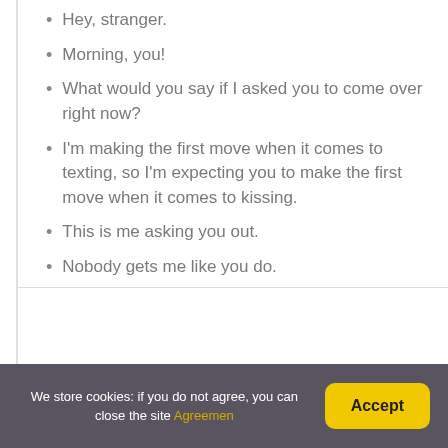Hey, stranger.
Morning, you!
What would you say if I asked you to come over right now?
I'm making the first move when it comes to texting, so I'm expecting you to make the first move when it comes to kissing.
This is me asking you out.
Nobody gets me like you do.
We store cookies: if you do not agree, you can close the site Agreemen  Accept